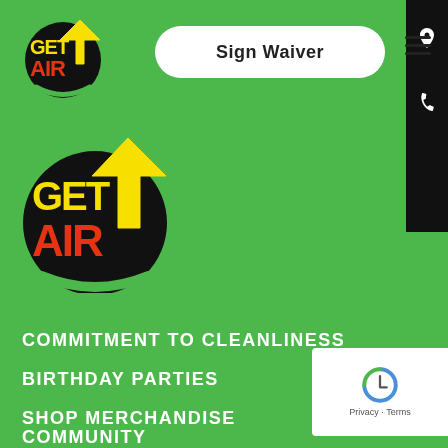[Figure (logo): Get Air Trampoline Park logo - small version in top navigation bar]
Sign Waiver
[Figure (logo): Get Air Trampoline Park logo - large version in main content area]
COMMITMENT TO CLEANLINESS
BIRTHDAY PARTIES
SHOP MERCHANDISE
CONTACT US
PARK LOCATOR
CAREERS
COMMUNITY